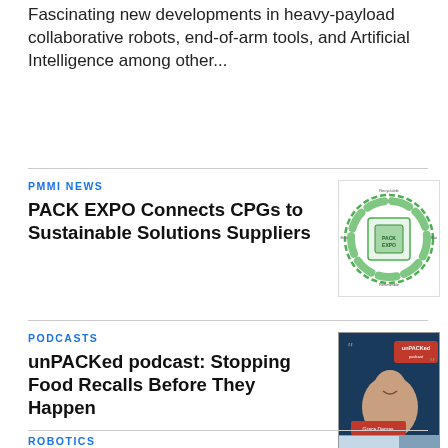Fascinating new developments in heavy-payload collaborative robots, end-of-arm tools, and Artificial Intelligence among other...
PMMI NEWS
PACK EXPO Connects CPGs to Sustainable Solutions Suppliers
[Figure (infographic): Circular diagram showing PACK EXPO sustainable solutions ecosystem with green segments and center logo]
PODCASTS
unPACKed podcast: Stopping Food Recalls Before They Happen
[Figure (photo): unPACKed podcast thumbnail featuring a woman smiling, dark blue background with podcast branding and quote marks]
ROBOTICS
Delicate Strudel Dough Picked
[Figure (photo): Robotics article thumbnail image]